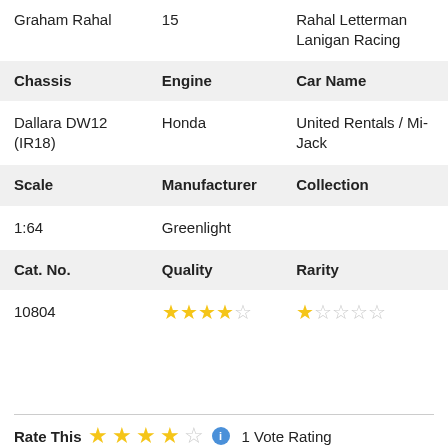| Graham Rahal / 15 |  | Rahal Letterman Lanigan Racing |
| --- | --- | --- |
| Chassis | Engine | Car Name |
| Dallara DW12 (IR18) | Honda | United Rentals / Mi-Jack |
| Scale | Manufacturer | Collection |
| 1:64 | Greenlight |  |
| Cat. No. | Quality | Rarity |
| 10804 | 3.5/5 stars | 1/5 stars |
Rate This ★★★★☆ ℹ 1 Vote Rating